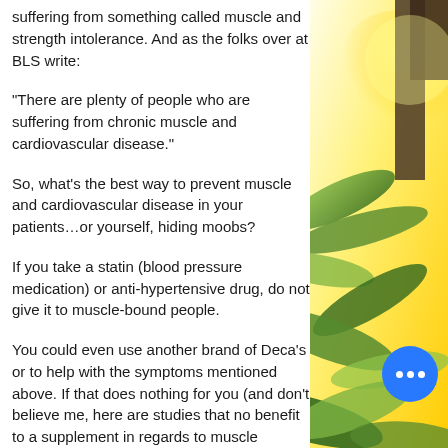suffering from something called muscle and strength intolerance. And as the folks over at BLS write:
"There are plenty of people who are suffering from chronic muscle and cardiovascular disease."
So, what's the best way to prevent muscle and cardiovascular disease in your patients…or yourself, hiding moobs?
If you take a statin (blood pressure medication) or anti-hypertensive drug, do not give it to muscle-bound people.
You could even use another brand of Deca's or to help with the symptoms mentioned above. If that does nothing for you (and don't believe me, here are studies that no benefit to a supplement in regards to muscle mass…for example).
[Figure (photo): Outdoor sunlit scene with tropical plants and bright golden light, partially visible on right side of page]